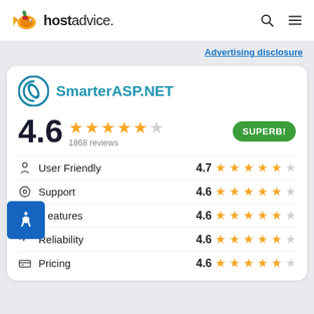hostadvice.
Advertising disclosure
[Figure (logo): SmarterASP.NET logo with teal circular icon]
4.6 — 1868 reviews — SUPERB!
User Friendly 4.7
Support 4.6
Features 4.6
Reliability 4.6
Pricing 4.6